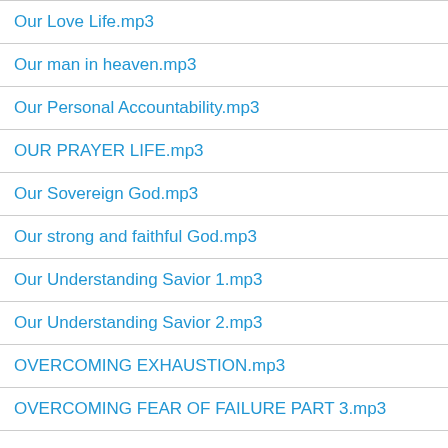Our Love Life.mp3
Our man in heaven.mp3
Our Personal Accountability.mp3
OUR PRAYER LIFE.mp3
Our Sovereign God.mp3
Our strong and faithful God.mp3
Our Understanding Savior 1.mp3
Our Understanding Savior 2.mp3
OVERCOMING EXHAUSTION.mp3
OVERCOMING FEAR OF FAILURE PART 3.mp3